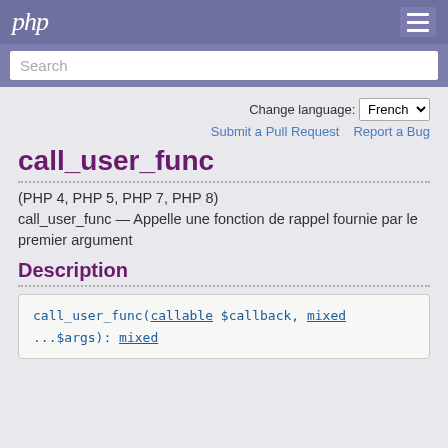php
Search
Change language: French
Submit a Pull Request   Report a Bug
call_user_func
(PHP 4, PHP 5, PHP 7, PHP 8)
call_user_func — Appelle une fonction de rappel fournie par le premier argument
Description
call_user_func(callable $callback, mixed ...$args): mixed